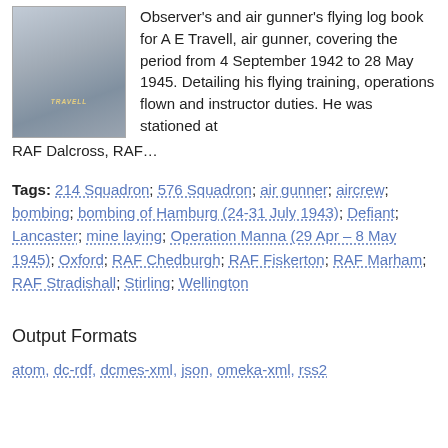[Figure (photo): Photo of the cover of a blue/grey flying log book with the name TRAVELL on the spine.]
Observer's and air gunner's flying log book for A E Travell, air gunner, covering the period from 4 September 1942 to 28 May 1945. Detailing his flying training, operations flown and instructor duties. He was stationed at RAF Dalcross, RAF…
Tags: 214 Squadron; 576 Squadron; air gunner; aircrew; bombing; bombing of Hamburg (24-31 July 1943); Defiant; Lancaster; mine laying; Operation Manna (29 Apr – 8 May 1945); Oxford; RAF Chedburgh; RAF Fiskerton; RAF Marham; RAF Stradishall; Stirling; Wellington
Output Formats
atom, dc-rdf, dcmes-xml, json, omeka-xml, rss2